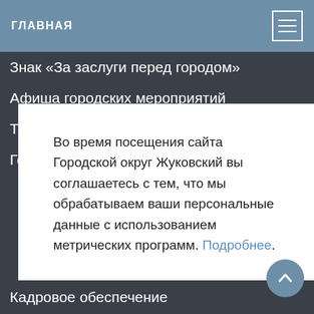ГЛАВНАЯ
Знак «За заслуги перед городом»
Афиша городских мероприятий
Туризм
Города-побратимы
Во время посещения сайта Городской округ Жуковский вы соглашаетесь с тем, что мы обрабатываем ваши персональные данные с использованием метрических программ. Подробнее.
Кадровое обеспечение